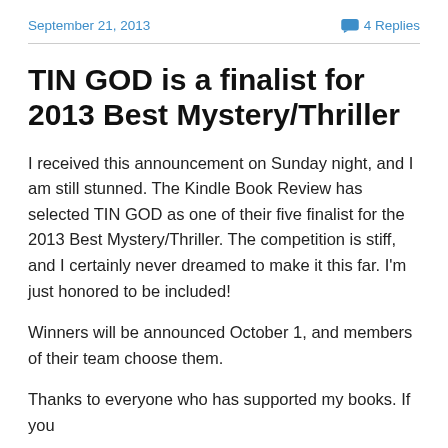September 21, 2013    💬 4 Replies
TIN GOD is a finalist for 2013 Best Mystery/Thriller
I received this announcement on Sunday night, and I am still stunned. The Kindle Book Review has selected TIN GOD as one of their five finalist for the 2013 Best Mystery/Thriller. The competition is stiff, and I certainly never dreamed to make it this far. I'm just honored to be included!
Winners will be announced October 1, and members of their team choose them.
Thanks to everyone who has supported my books. If you